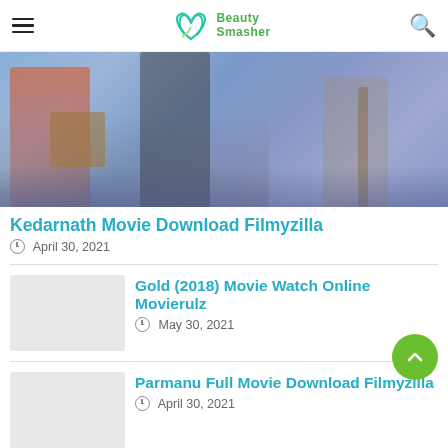Beauty Smasher
[Figure (illustration): Movie poster/artwork for Kedarnath film, showing figures in a blue-purple mountain scene with a person carrying a basket]
Kedarnath Movie Download Filmyzilla
April 30, 2021
Gold (2018) Movie Watch Online Movierulz
May 30, 2021
Parmanu Full Movie Download Filmyzilla
April 30, 2021